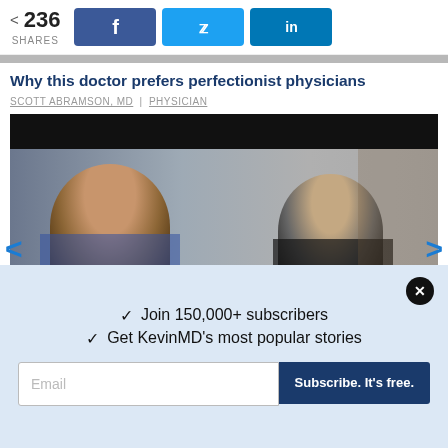236 SHARES | Facebook | Twitter | LinkedIn
[Figure (screenshot): Grey partial image strip at top]
Why this doctor prefers perfectionist physicians
SCOTT ABRAMSON, MD | PHYSICIAN
[Figure (photo): Video thumbnail showing two people: a woman on the left with long brown hair wearing blue, and a man on the right wearing dark clothing with a microphone. Black bar at top. Overlaid text at bottom: 'How technology can streamline...']
✓ Join 150,000+ subscribers
✓ Get KevinMD's most popular stories
Email | Subscribe. It's free.